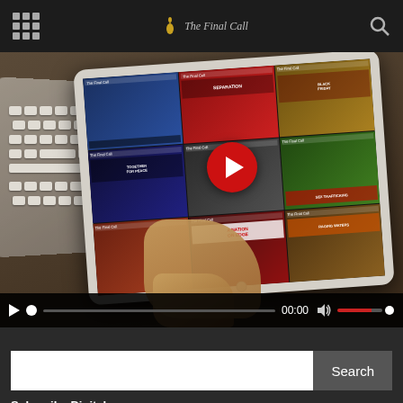The Final Call
[Figure (screenshot): Video player showing a tablet device held by a hand next to a keyboard, with a grid of newspaper front page thumbnails on the tablet screen and a large red play button overlay. Video controls bar at bottom showing play button, progress dot, time 00:00, volume icon, and red volume bar.]
Search
Subscribe Digital